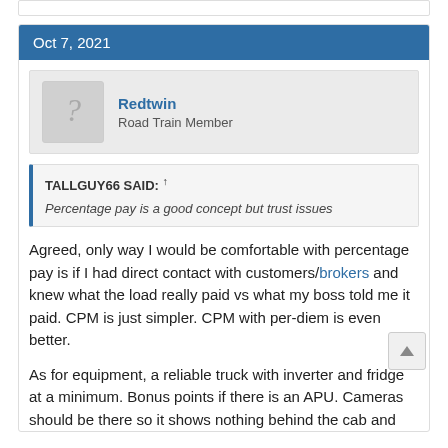Oct 7, 2021
Redtwin
Road Train Member
TALLGUY66 SAID: ↑
Percentage pay is a good concept but trust issues
Agreed, only way I would be comfortable with percentage pay is if I had direct contact with customers/brokers and knew what the load really paid vs what my boss told me it paid. CPM is just simpler. CPM with per-diem is even better.
As for equipment, a reliable truck with inverter and fridge at a minimum. Bonus points if there is an APU. Cameras should be there so it shows nothing behind the cab and